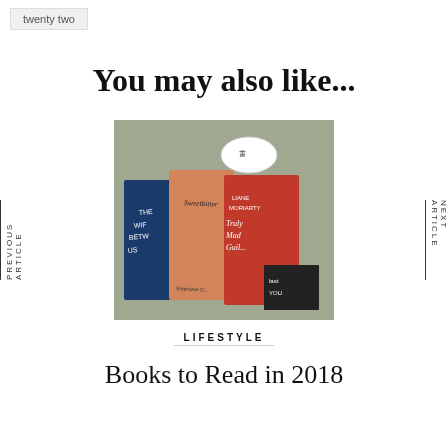twenty two
You may also like...
[Figure (photo): Several books laid on a floral fabric background with a white mug. Visible book titles include Sweetbitter (orange cover), a book by Liane Moriarty titled Truly Madly Guilty, and The Wife Between Us.]
LIFESTYLE
Books to Read in 2018